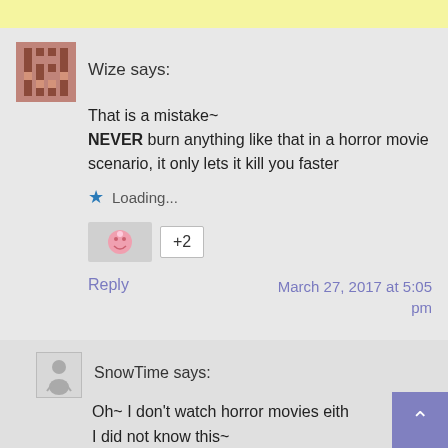Wize says:
That is a mistake~
NEVER burn anything like that in a horror movie scenario, it only lets it kill you faster
Loading...
+2
Reply
March 27, 2017 at 5:05 pm
SnowTime says:
Oh~ I don't watch horror movies eith
I did not know this~